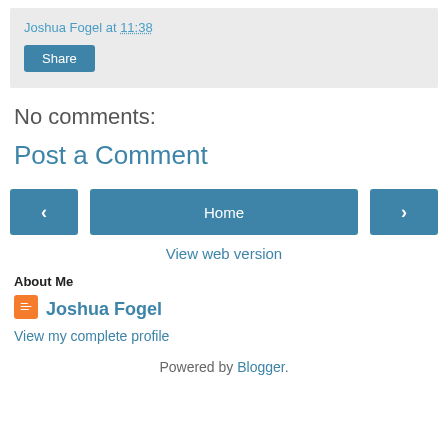Joshua Fogel at 11:38
[Figure (other): Share button - blue rectangular button with white text 'Share']
No comments:
Post a Comment
[Figure (other): Navigation buttons: left arrow button, Home button, right arrow button]
View web version
About Me
[Figure (logo): Blogger orange/red square icon logo]
Joshua Fogel
View my complete profile
Powered by Blogger.